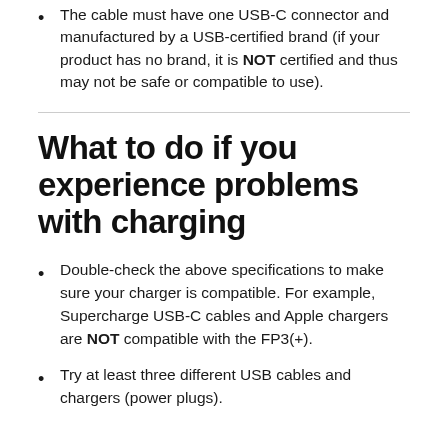The cable must have one USB-C connector and manufactured by a USB-certified brand (if your product has no brand, it is NOT certified and thus may not be safe or compatible to use).
What to do if you experience problems with charging
Double-check the above specifications to make sure your charger is compatible. For example, Supercharge USB-C cables and Apple chargers are NOT compatible with the FP3(+).
Try at least three different USB cables and chargers (power plugs).